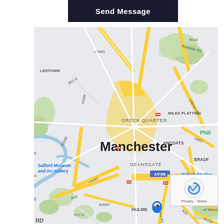[Figure (other): Send Message button - dark navy rectangular button with white bold text]
[Figure (map): Google Maps screenshot showing Manchester city centre, UK, with surrounding areas including Salford, Green Quarter, Deansgate, Ancoats, Miles Platting, Hulme, Ardwick. Major roads: A57(M), A5066, A6042, A56, A662, A665, A6, A34, A5184, A5067, B5218, B6186, A5065, Rochdale Rd, Oldham Rd, Bury New Rd, Cheetham Hill Rd, Princess Rd. Landmarks: Salford Museum and Art Gallery, Manchester city label, The University of Manchester, Etihad Stadium. Several train station icons shown. reCAPTCHA badge visible in lower right corner.]